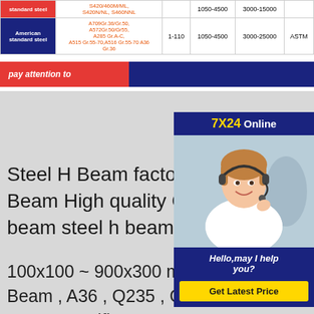|  | Steel grades | Thickness (mm) | Width (mm) | Length (mm) | Standard |
| --- | --- | --- | --- | --- | --- |
| standard steel | S420/460M/ML, S420N/NL, S460NNL |  | 1050-4500 | 3000-15000 |  |
| American standard steel | A709Gr.36/Gr.50, A572Gr.50/Gr55, A285 Gr.A-C, A515 Gr.55-70, A516 Gr.55-70 A36 Gr.36 | 1-110 | 1050-4500 | 3000-25000 | ASTM |
pay attention to
[Figure (photo): Customer service representative with headset, 7X24 Online chat widget with 'Hello, may I help you?' message and 'Get Latest Price' button]
Steel H Beam factory, Buy good Steel H Beam High quality GB Standard steel h beam steel h beams
100x100 ~ 900x300 mm High Quality H Steel Beam , A36 , Q235 , Q345 Steel Structure H Beam Specifications 100mm-900mm Dimensional specifications JIS G3192, GB/T 11263, En10034,ASTM Material Specificat High quality GB Standard steel h beam steel h beams 3 mins China H Steel Beam Manufacturers and Suppliers - H Steel